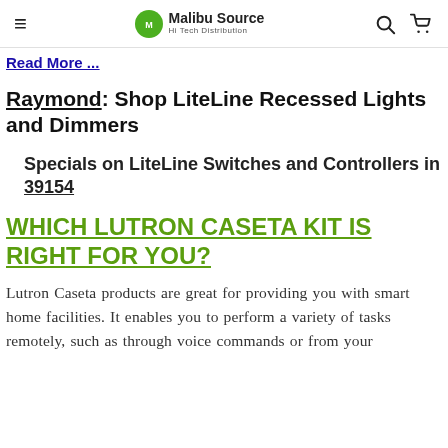Malibu Source Hi Tech Distribution
Read More ...
Raymond: Shop LiteLine Recessed Lights and Dimmers
Specials on LiteLine Switches and Controllers in 39154
WHICH LUTRON CASETA KIT IS RIGHT FOR YOU?
Lutron Caseta products are great for providing you with smart home facilities. It enables you to perform a variety of tasks remotely, such as through voice commands or from your